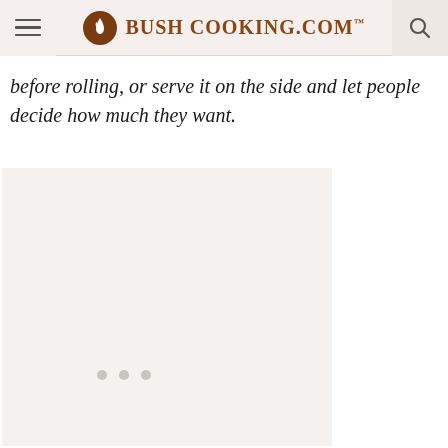Bush Cooking.com
before rolling, or serve it on the side and let people decide how much they want.
[Figure (other): Advertisement placeholder area with light beige background and three small grey dots indicating loading or pagination]